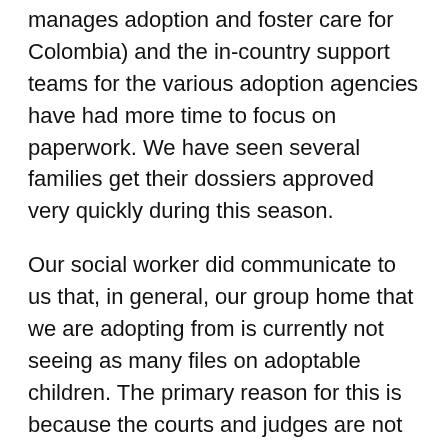manages adoption and foster care for Colombia) and the in-country support teams for the various adoption agencies have had more time to focus on paperwork. We have seen several families get their dossiers approved very quickly during this season.
Our social worker did communicate to us that, in general, our group home that we are adopting from is currently not seeing as many files on adoptable children. The primary reason for this is because the courts and judges are not really meeting right now. It is necessary for children to be declared adoptable by a judge in order for their file to be passed on to our group home for advocacy. With less files coming in, that means there are less opportunities for us to be matched.
That said, our social worker offered us the